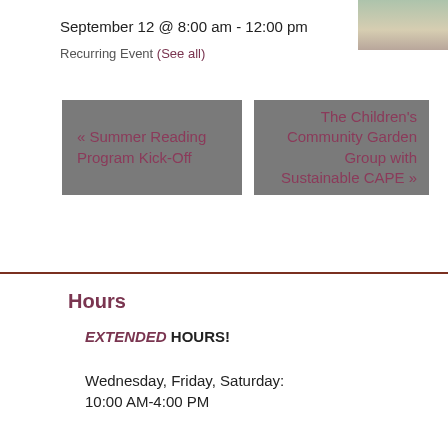September 12 @ 8:00 am - 12:00 pm
Recurring Event (See all)
[Figure (photo): Outdoor scene, possibly a market or garden event]
« Summer Reading Program Kick-Off
The Children's Community Garden Group with Sustainable CAPE »
Hours
EXTENDED HOURS!
Wednesday, Friday, Saturday:
10:00 AM-4:00 PM